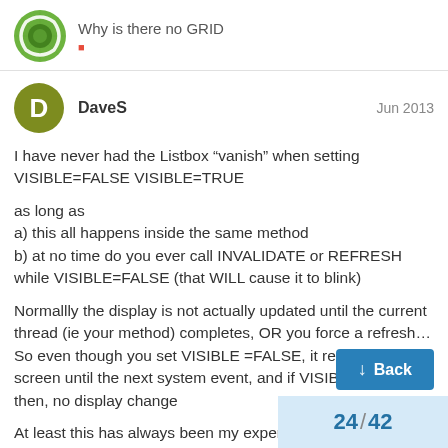Why is there no GRID
DaveS   Jun 2013
I have never had the Listbox “vanish” when setting VISIBLE=FALSE VISIBLE=TRUE
as long as
a) this all happens inside the same method
b) at no time do you ever call INVALIDATE or REFRESH while VISIBLE=FALSE (that WILL cause it to blink)
Normallly the display is not actually updated until the current thread (ie your method) completes, OR you force a refresh… So even though you set VISIBLE =FALSE, it remains on the screen until the next system event, and if VISIBLE=TRUE by then, no display change
At least this has always been my expercen… with OSX and RealStudio/Xojo
24 / 42